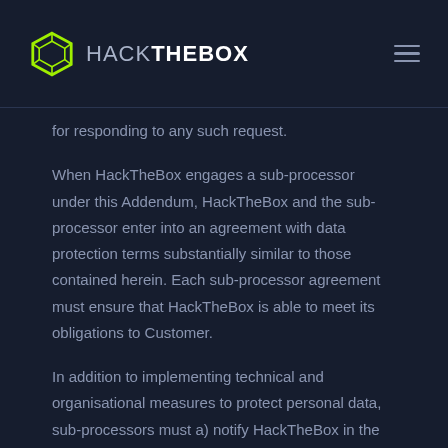HACKTHEBOX
for responding to any such request.
When HackTheBox engages a sub-processor under this Addendum, HackTheBox and the sub-processor enter into an agreement with data protection terms substantially similar to those contained herein. Each sub-processor agreement must ensure that HackTheBox is able to meet its obligations to Customer.
In addition to implementing technical and organisational measures to protect personal data, sub-processors must a) notify HackTheBox in the event of a Security